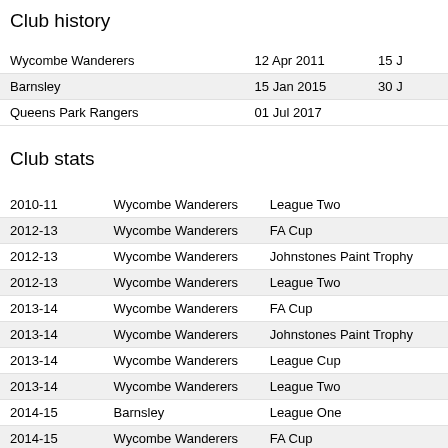Club history
| Club | From | To |
| --- | --- | --- |
| Wycombe Wanderers | 12 Apr 2011 | 15 J… |
| Barnsley | 15 Jan 2015 | 30 J… |
| Queens Park Rangers | 01 Jul 2017 |  |
Club stats
| Season | Club | Competition |
| --- | --- | --- |
| 2010-11 | Wycombe Wanderers | League Two |
| 2012-13 | Wycombe Wanderers | FA Cup |
| 2012-13 | Wycombe Wanderers | Johnstones Paint Trophy |
| 2012-13 | Wycombe Wanderers | League Two |
| 2013-14 | Wycombe Wanderers | FA Cup |
| 2013-14 | Wycombe Wanderers | Johnstones Paint Trophy |
| 2013-14 | Wycombe Wanderers | League Cup |
| 2013-14 | Wycombe Wanderers | League Two |
| 2014-15 | Barnsley | League One |
| 2014-15 | Wycombe Wanderers | FA Cup |
| 2014-15 | Wycombe Wanderers | League Two |
| 2015-16 | Barnsley | FA Cup |
| 2015-16 | Barnsley | Johnstone's Paint Trop… |